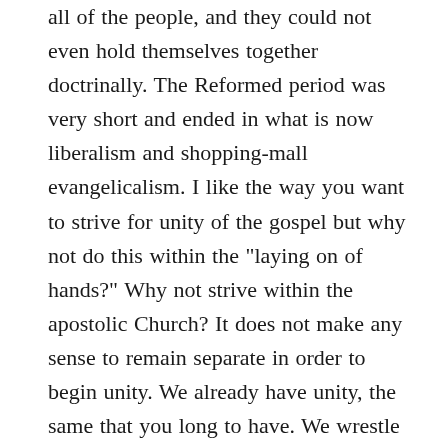all of the people, and they could not even hold themselves together doctrinally. The Reformed period was very short and ended in what is now liberalism and shopping-mall evangelicalism. I like the way you want to strive for unity of the gospel but why not do this within the "laying on of hands?" Why not strive within the apostolic Church? It does not make any sense to remain separate in order to begin unity. We already have unity, the same that you long to have. We wrestle with the Scripture, we debate, and honor theological education. You, again, mistake the Orthodox faith for the Roman. We have doctrinal latitude